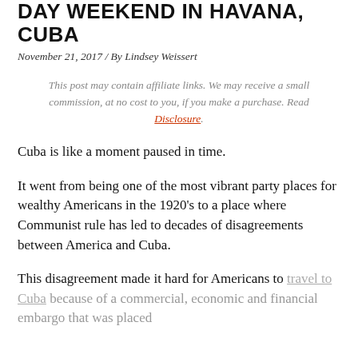DAY WEEKEND IN HAVANA, CUBA
November 21, 2017 / By Lindsey Weissert
This post may contain affiliate links. We may receive a small commission, at no cost to you, if you make a purchase. Read Disclosure.
Cuba is like a moment paused in time.
It went from being one of the most vibrant party places for wealthy Americans in the 1920's to a place where Communist rule has led to decades of disagreements between America and Cuba.
This disagreement made it hard for Americans to travel to Cuba because of a commercial, economic and financial embargo that was placed